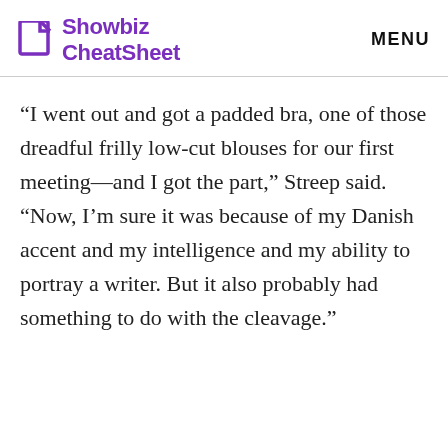Showbiz CheatSheet   MENU
“I went out and got a padded bra, one of those dreadful frilly low-cut blouses for our first meeting—and I got the part,” Streep said. “Now, I’m sure it was because of my Danish accent and my intelligence and my ability to portray a writer. But it also probably had something to do with the cleavage.”